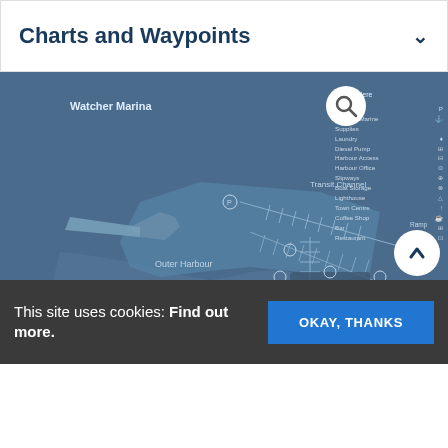Charts and Waypoints
[Figure (map): Watcher Marina nautical chart showing marina layout with docks, outer harbour, transit channel, boat storage, and surrounding streets. Includes a legend with icons for Parking, Bait and Marine Supplies, Laundry, Diesel Pump, Harbour Access, Harbour Office, Slipways, Boat Storage, Lighthouse, Town Centre, Coffee Shop, Bar, Restaurant. Search icon in upper right and back-to-top button at lower right.]
This site uses cookies: Find out more.
OKAY, THANKS